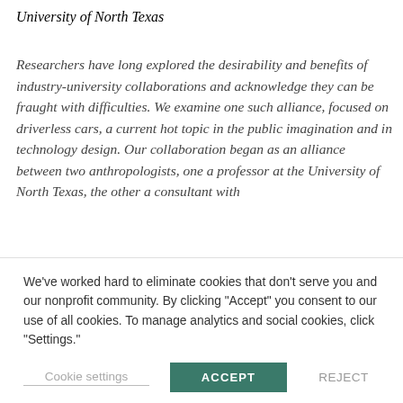University of North Texas
Researchers have long explored the desirability and benefits of industry-university collaborations and acknowledge they can be fraught with difficulties. We examine one such alliance, focused on driverless cars, a current hot topic in the public imagination and in technology design. Our collaboration began as an alliance between two anthropologists, one a professor at the University of North Texas, the other a consultant with
We've worked hard to eliminate cookies that don't serve you and our nonprofit community. By clicking "Accept" you consent to our use of all cookies. To manage analytics and social cookies, click "Settings."
Cookie settings | ACCEPT | REJECT